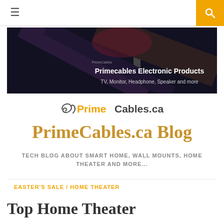≡ [menu] | [search]
[Figure (photo): Dark banner image showing a curved television/monitor with text 'Primecables Electronic Products' and 'TV, Monitor, Headphone, Speaker and more']
[Figure (logo): PrimeCables.ca logo with orange swirl icon, orange 'Prime' and dark 'Cables.ca' text]
PrimeCables.ca Blog
TECH BLOG ABOUT SMART HOME, WALL MOUNTS, HOME THEATER AND MORE...
EASTER'S SALE / HOME THEATER
Top Home Theater